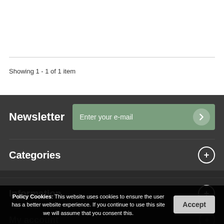Showing 1 - 1 of 1 item
Newsletter
Categories
Information
My account
Store Information
Policy Cookies: This website uses cookies to ensure the user has a better website experience. If you continue to use this site we will assume that you consent this.